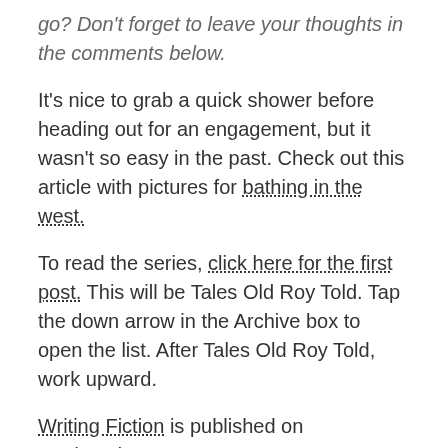go? Don't forget to leave your thoughts in the comments below.
It's nice to grab a quick shower before heading out for an engagement, but it wasn't so easy in the past. Check out this article with pictures for bathing in the west.
To read the series, click here for the first post. This will be Tales Old Roy Told. Tap the down arrow in the Archive box to open the list. After Tales Old Roy Told, work upward.
Writing Fiction is published on Wednesdays.
Please thank a veteran. The time to do so is precious.
Want the story to ride into your inbox? Click on the picture or here.